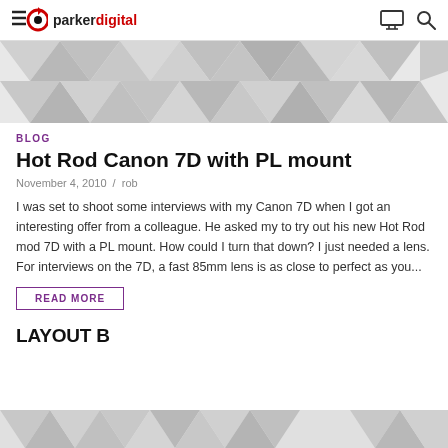parkerdigital
[Figure (photo): Geometric triangle pattern hero image in light grey tones]
BLOG
Hot Rod Canon 7D with PL mount
November 4, 2010  /  rob
I was set to shoot some interviews with my Canon 7D when I got an interesting offer from a colleague. He asked my to try out his new Hot Rod mod 7D with a PL mount. How could I turn that down? I just needed a lens. For interviews on the 7D, a fast 85mm lens is as close to perfect as you...
READ MORE
LAYOUT B
[Figure (photo): Geometric triangle pattern image in light grey tones, partially visible at bottom]